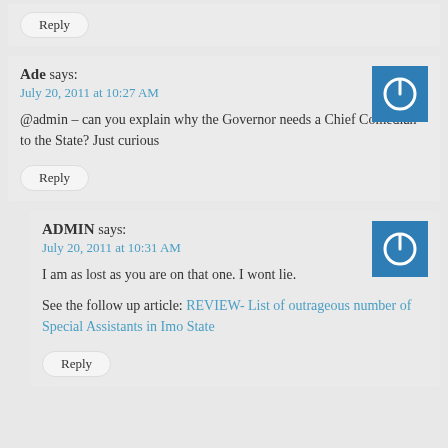Reply
Ade says:
July 20, 2011 at 10:27 AM
@admin – can you explain why the Governor needs a Chief Comedian to the State? Just curious
Reply
ADMIN says:
July 20, 2011 at 10:31 AM
I am as lost as you are on that one. I wont lie.
See the follow up article: REVIEW- List of outrageous number of Special Assistants in Imo State
Reply